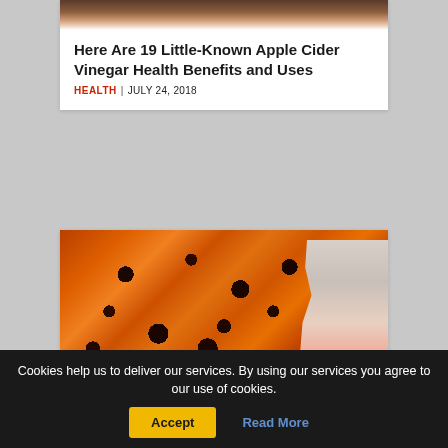[Figure (photo): Top portion of apple cider vinegar bottles, cropped at top of card]
Here Are 19 Little-Known Apple Cider Vinegar Health Benefits and Uses
HEALTH | JULY 24, 2018
[Figure (photo): Close-up photo of orange-red kidney stones with black spots, with a hand pointing at them against a blue background]
Cookies help us to deliver our services. By using our services you agree to our use of cookies.
Accept
Read More